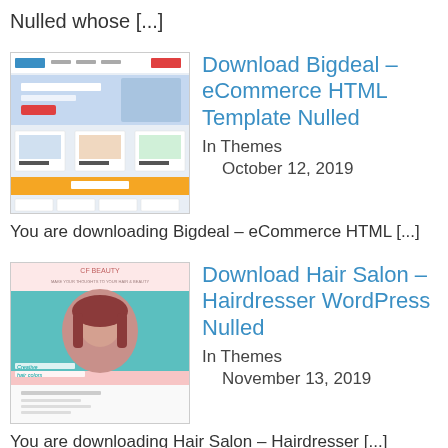Nulled whose [...]
[Figure (screenshot): Thumbnail image of Bigdeal eCommerce HTML Template showing a website layout with product grids and navigation elements]
Download Bigdeal – eCommerce HTML Template Nulled
In Themes
October 12, 2019
You are downloading Bigdeal – eCommerce HTML [...]
[Figure (screenshot): Thumbnail image of Hair Salon Hairdresser WordPress theme showing a beauty salon website with a woman's face and teal/pink design]
Download Hair Salon – Hairdresser WordPress Nulled
In Themes
November 13, 2019
You are downloading Hair Salon – Hairdresser [...]
[Figure (screenshot): Partial thumbnail image of The Retailer theme]
Download The Retailer –